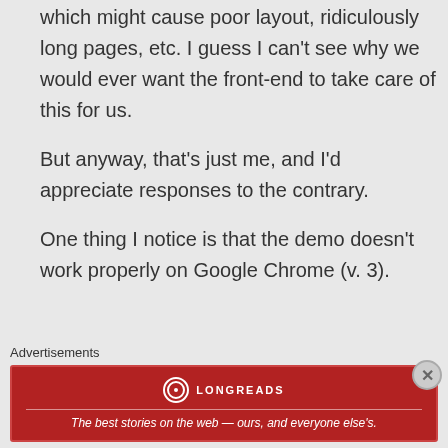which might cause poor layout, ridiculously long pages, etc. I guess I can't see why we would ever want the front-end to take care of this for us.
But anyway, that's just me, and I'd appreciate responses to the contrary.
One thing I notice is that the demo doesn't work properly on Google Chrome (v. 3).
Advertisements
[Figure (logo): Longreads advertisement banner — red background with Longreads circular logo and tagline: The best stories on the web — ours, and everyone else's.]